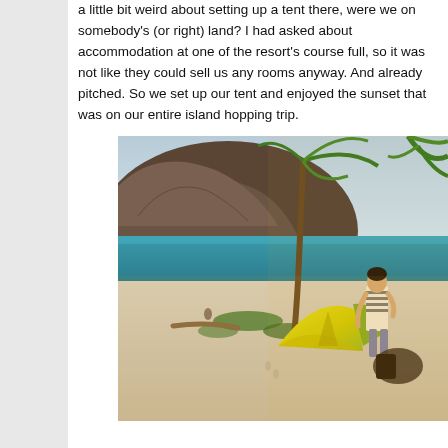a little bit weird about setting up a tent there, were we on somebody's (or right) land? I had asked about accommodation at one of the resort's course full, so it was not like they could sell us any rooms anyway. And already pitched. So we set up our tent and enjoyed the sunset that was on our entire island hopping trip.
[Figure (photo): A person standing next to a bright yellow-green tent pitched on a white sandy beach, with palm trees, turquoise water, and a large forested mountain in the background during golden hour/sunset.]